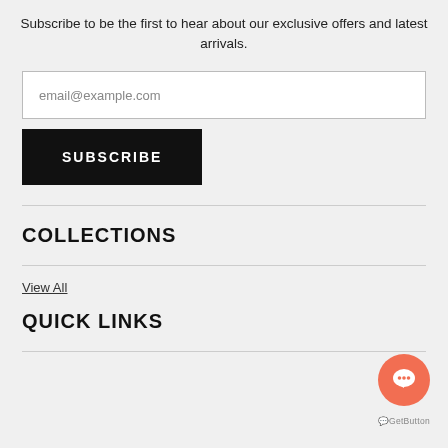Subscribe to be the first to hear about our exclusive offers and latest arrivals.
email@example.com
SUBSCRIBE
COLLECTIONS
View All
QUICK LINKS
[Figure (illustration): Orange circular chat/support button with speech bubble icon, labeled GetButton]
GetButton